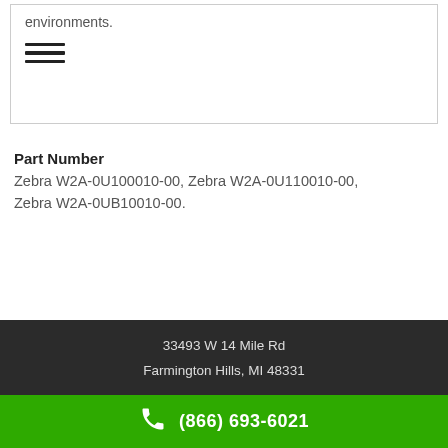environments.
[Figure (other): Hamburger menu icon with three horizontal lines]
Part Number
Zebra W2A-0U100010-00, Zebra W2A-0U110010-00, Zebra W2A-0UB10010-00.
33493 W 14 Mile Rd
Farmington Hills, MI 48331
(866) 693-6021